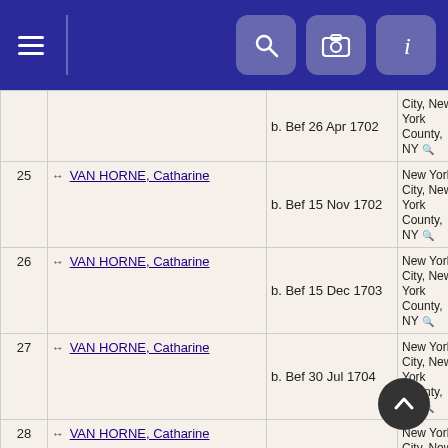Navigation header with hamburger menu and search/camera/info icons
| # | Name | Date | Place | ID |
| --- | --- | --- | --- | --- |
|  |  | b. Bef 26 Apr 1702 | City, New York County, NY | I20 |
| 25 | VAN HORNE, Catharine | b. Bef 15 Nov 1702 | New York City, New York County, NY | I20 |
| 26 | VAN HORNE, Catharine | b. Bef 15 Dec 1703 | New York City, New York County, NY | I20 |
| 27 | VAN HORNE, Catharine | b. Bef 30 Jul 1704 | New York City, New York County, NY | I20 |
| 28 | VAN HORNE, Catharine | b. Bef 14 May 1732 | New York City, New York County, NY | I20 |